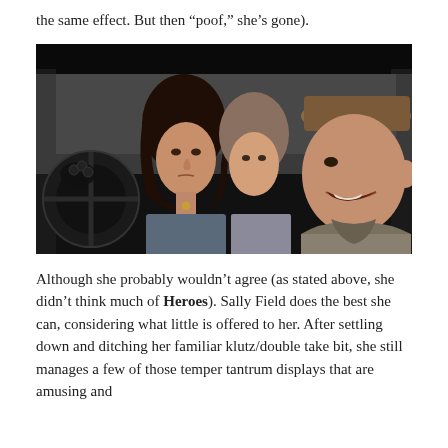the same effect. But then “poof,” she’s gone).
[Figure (photo): Film still showing three people inside a car. On the left is a woman with dark curly hair looking slightly downward. In the middle is another woman. On the right is a smiling man wearing a hat, appearing to be in the driver or front passenger seat. The car interior is dark and the background outside shows a blurred street scene with an orange taxi visible.]
Although she probably wouldn’t agree (as stated above, she didn’t think much of Heroes). Sally Field does the best she can, considering what little is offered to her. After settling down and ditching her familiar klutz/double take bit, she still manages a few of those temper tantrum displays that are amusing and